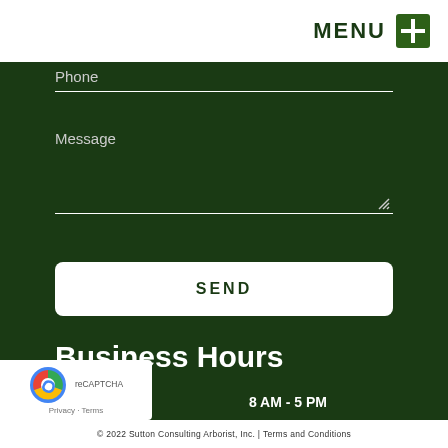MENU +
Phone
Message
SEND
Business Hours
| Day | Hours |
| --- | --- |
| Monday | 8 AM - 5 PM |
| Tuesday | 8 AM - 5 PM |
| Wednesday | 8 AM - 5 PM |
| Thursday | 8 AM - 5 PM |
| Friday | 8 AM - 5 PM |
| Saturday | 8 AM - 5 PM |
| Sunday | Closed |
© 2022 Sutton Consulting Arborist, Inc. | Terms and Conditions